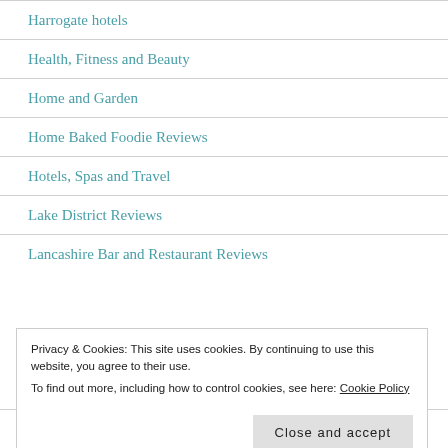Harrogate hotels
Health, Fitness and Beauty
Home and Garden
Home Baked Foodie Reviews
Hotels, Spas and Travel
Lake District Reviews
Lancashire Bar and Restaurant Reviews
Privacy & Cookies: This site uses cookies. By continuing to use this website, you agree to their use.
To find out more, including how to control cookies, see here: Cookie Policy
London Bar and Restaurant Reviews